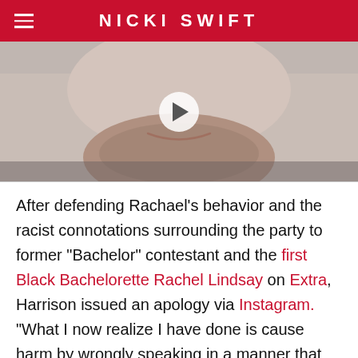NICKI SWIFT
[Figure (photo): Close-up photo of a man smiling with stubble beard, light background, with a video play button overlay]
After defending Rachael's behavior and the racist connotations surrounding the party to former "Bachelor" contestant and the first Black Bachelorette Rachel Lindsay on Extra, Harrison issued an apology via Instagram. "What I now realize I have done is cause harm by wrongly speaking in a manner that perpetuates racism, and for that I am so deeply sorry," Harrison stated. "I also apologize to my friend Rachel Lindsay for